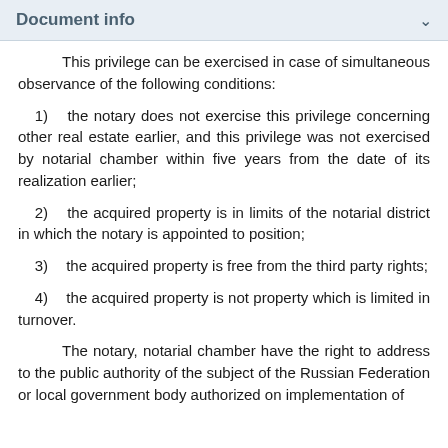Document info
This privilege can be exercised in case of simultaneous observance of the following conditions:
1) the notary does not exercise this privilege concerning other real estate earlier, and this privilege was not exercised by notarial chamber within five years from the date of its realization earlier;
2) the acquired property is in limits of the notarial district in which the notary is appointed to position;
3) the acquired property is free from the third party rights;
4) the acquired property is not property which is limited in turnover.
The notary, notarial chamber have the right to address to the public authority of the subject of the Russian Federation or local government body authorized on implementation of